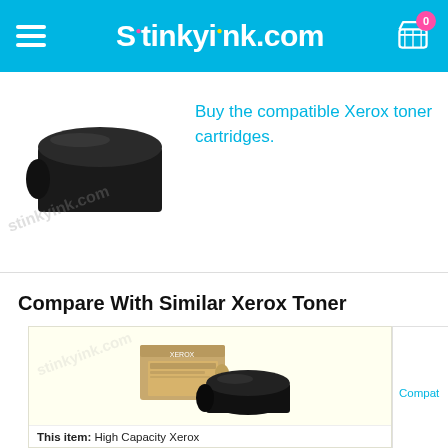stinkyink.com
[Figure (photo): Black toner cartridge product photo with stinkyink.com watermark]
Buy the compatible Xerox toner cartridges.
Compare With Similar Xerox Toner
[Figure (photo): Xerox High Capacity toner cartridge with box and toner tube, stinkyink.com watermark on cream background]
This item: High Capacity Xerox
Compat